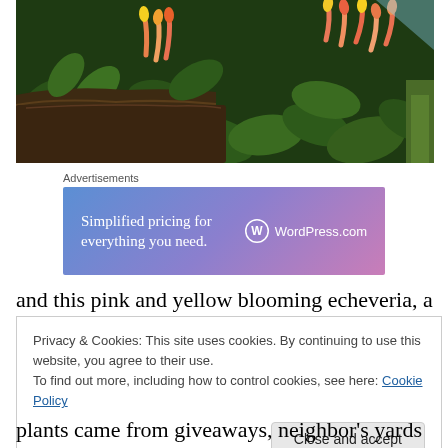[Figure (photo): Close-up photograph of pink and yellow blooming echeveria succulent plants with dark green leaves, set against what appears to be a wooden planter or log. Orange and pink tubular flowers are visible with green succulent rosettes.]
Advertisements
[Figure (other): WordPress.com advertisement banner with gradient blue-purple-pink background. Text reads: 'Simplified pricing for everything you need.' with WordPress.com logo on the right.]
and this pink and yellow blooming echeveria, a succulent
Privacy & Cookies: This site uses cookies. By continuing to use this website, you agree to their use.
To find out more, including how to control cookies, see here: Cookie Policy
plants came from giveaways, neighbor's yards (with